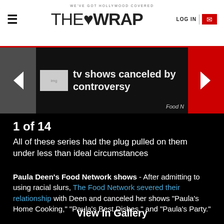WE'VE GOT HOLLYWOOD COVERED — THE WRAP — LOG IN
[Figure (screenshot): Slideshow image for 'tv shows canceled by controversy', with left gray arrow and right red arrow navigation, Food N[etwork] credit visible]
1 of 14
All of these series had the plug pulled on them under less than ideal circumstances
Paula Deen's Food Network shows - After admitting to using racial slurs, The Food Network severed their relationship with Deen and canceled her shows "Paula's Home Cooking," "Paula's Best Dishes," and "Paula's Party."
View In Gallery